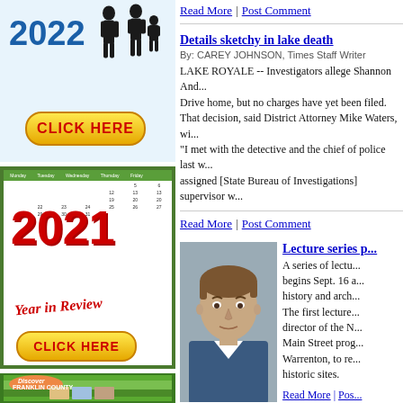[Figure (illustration): 2022 advertisement with blue background, silhouette figures, yellow CLICK HERE button, year 2022 in blue]
[Figure (illustration): 2021 Year in Review calendar advertisement with green border, red 2021 text, yellow CLICK HERE button]
[Figure (illustration): Discover Franklin County advertisement, partially visible, green background]
Read More | Post Comment
Details sketchy in lake death
By: CAREY JOHNSON, Times Staff Writer
LAKE ROYALE -- Investigators allege Shannon And... Drive home, but no charges have yet been filed. That decision, said District Attorney Mike Waters, wi... "I met with the detective and the chief of police last w... assigned [State Bureau of Investigations] supervisor w...
Read More | Post Comment
[Figure (photo): Headshot photo of a man with brown hair in a suit, gray background]
Lecture series p
A series of lectu... begins Sept. 16 a... history and arch... The first lecture... director of the N... Main Street prog... Warrenton, to re... historic sites.
Read More | Pos...